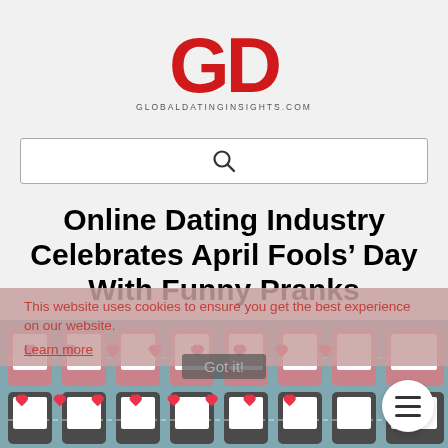[Figure (logo): GDI red logo with letters G, D, I in bold red, and GLOBALDATINGINSIGHTS.COM below]
[Figure (screenshot): Search bar with magnifying glass icon]
Online Dating Industry Celebrates April Fools’ Day With Funny Pranks
This website uses cookies to ensure you get the best experience on our website.
Learn more
Got it!
[Figure (illustration): Infographic showing rows of illustrated smartphones with hearts, on a teal/blue background with dashed connecting lines]